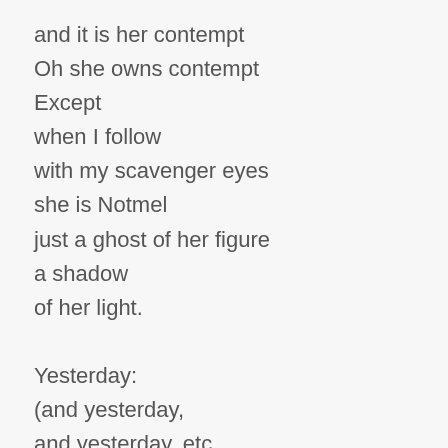and it is her contempt
Oh she owns contempt
Except
when I follow
with my scavenger eyes
she is Notmel
just a ghost of her figure
a shadow
of her light.

Yesterday:
(and yesterday,
and yesterday, etc
there is a poem in that, too
tomorrow perhaps)
I passed you
on the escalator
caught your eye